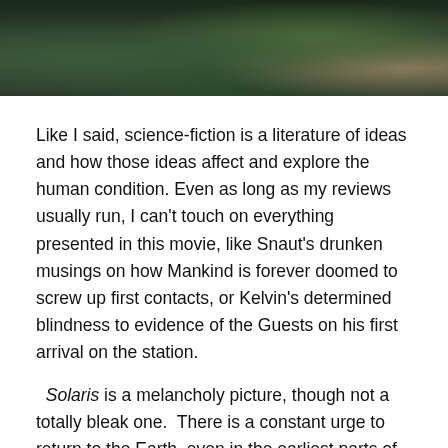[Figure (photo): A dark naturalistic outdoor scene showing water, rocks, and vegetation — appears to be a pond or stream with greenery, shown as a horizontal strip at the top of the page.]
Like I said, science-fiction is a literature of ideas and how those ideas affect and explore the human condition. Even as long as my reviews usually run, I can't touch on everything presented in this movie, like Snaut's drunken musings on how Mankind is forever doomed to screw up first contacts, or Kelvin's determined blindness to evidence of the Guests on his first arrival on the station.
Solaris is a melancholy picture, though not a totally bleak one.  There is a constant urge to return to the Earth, even in the earliest parts of the movie that are actually set on Earth. Kelvin lives with his father and aunt in the country, a serene house with a large pond and rolling hills, contrasted – none too briefly – with the nearby city, where